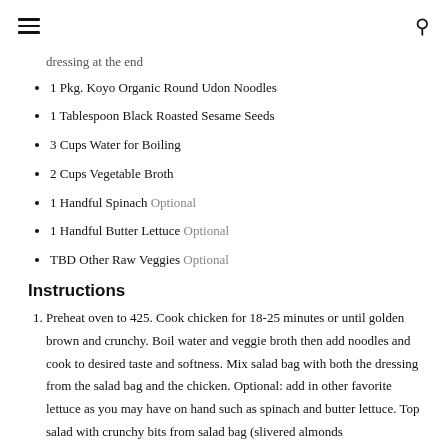[hamburger menu] [search icon]
dressing at the end
1 Pkg. Koyo Organic Round Udon Noodles
1 Tablespoon Black Roasted Sesame Seeds
3 Cups Water for Boiling
2 Cups Vegetable Broth
1 Handful Spinach Optional
1 Handful Butter Lettuce Optional
TBD Other Raw Veggies Optional
Instructions
Preheat oven to 425. Cook chicken for 18-25 minutes or until golden brown and crunchy. Boil water and veggie broth then add noodles and cook to desired taste and softness. Mix salad bag with both the dressing from the salad bag and the chicken. Optional: add in other favorite lettuce as you may have on hand such as spinach and butter lettuce. Top salad with crunchy bits from salad bag (slivered almonds